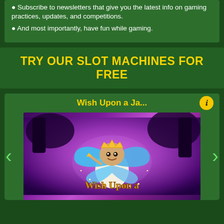Subscribe to newsletters that give you the latest info on gaming practices, updates, and competitions.
And most importantly, have fun while gaming.
TRY OUR SLOT MACHINES FOR FREE
Wish Upon a Ja...
[Figure (illustration): Slot machine game card for 'Wish Upon a Jackpot' showing a cartoon fairy character (a plump fairy with blue butterfly wings, golden crown, and wand) in a magical purple forest setting with ornate gold text 'Wish Upon a' at the bottom. Left and right navigation arrows are visible.]